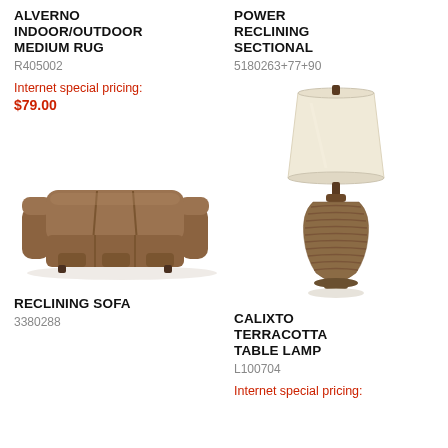ALVERNO INDOOR/OUTDOOR MEDIUM RUG
R405002
Internet special pricing:
$79.00
[Figure (photo): Brown leather reclining sofa with three seats]
RECLINING SOFA
3380288
POWER RECLINING SECTIONAL
5180263+77+90
[Figure (photo): Calixto terracotta table lamp with cream drum shade and ridged brown base]
CALIXTO TERRACOTTA TABLE LAMP
L100704
Internet special pricing: